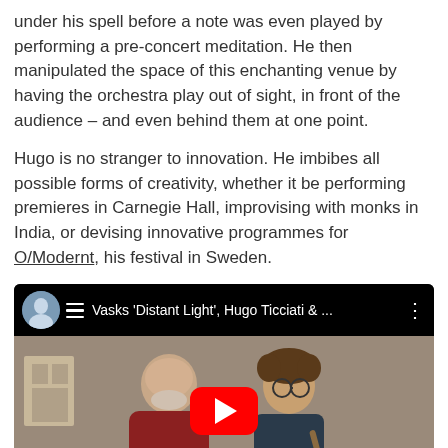under his spell before a note was even played by performing a pre-concert meditation. He then manipulated the space of this enchanting venue by having the orchestra play out of sight, in front of the audience – and even behind them at one point.
Hugo is no stranger to innovation. He imbibes all possible forms of creativity, whether it be performing premieres in Carnegie Hall, improvising with monks in India, or devising innovative programmes for O/Modernt, his festival in Sweden.
[Figure (screenshot): YouTube video embed thumbnail showing two men posing together — an older bald man and a younger man with glasses and curly hair holding a bow. The video title reads 'Vasks Distant Light, Hugo Ticciati & ...' with a red YouTube play button in the center.]